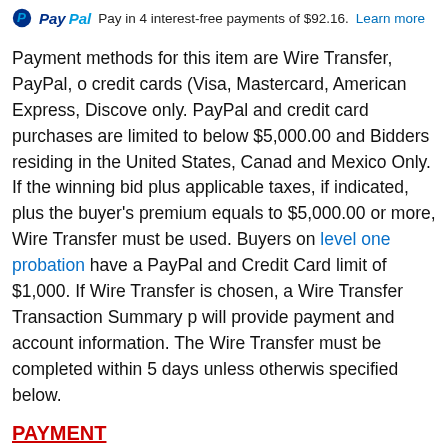PayPal Pay in 4 interest-free payments of $92.16. Learn more
Payment methods for this item are Wire Transfer, PayPal, or credit cards (Visa, Mastercard, American Express, Discover) only. PayPal and credit card purchases are limited to below $5,000.00 and Bidders residing in the United States, Canada and Mexico Only. If the winning bid plus applicable taxes, if indicated, plus the buyer's premium equals to $5,000.00 or more, Wire Transfer must be used. Buyers on level one probation have a PayPal and Credit Card limit of $1,000. If Wire Transfer is chosen, a Wire Transfer Transaction Summary p will provide payment and account information. The Wire Transfer must be completed within 5 days unless otherwise specified below.
PAYMENT
If you are the winning bidder, you will facilitate payment by